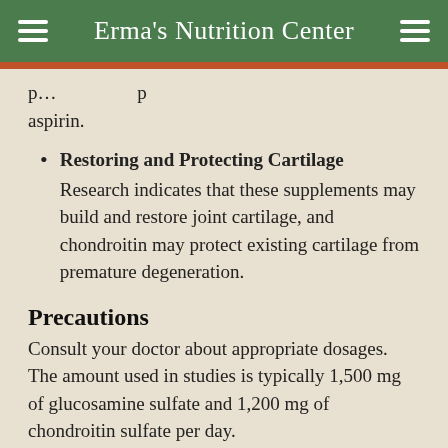Erma's Nutrition Center
…p… …, …p aspirin.
Restoring and Protecting Cartilage — Research indicates that these supplements may build and restore joint cartilage, and chondroitin may protect existing cartilage from premature degeneration.
Precautions
Consult your doctor about appropriate dosages. The amount used in studies is typically 1,500 mg of glucosamine sulfate and 1,200 mg of chondroitin sulfate per day.
Diabetes — People with diabetes should consult their doctor before taking these supplements.